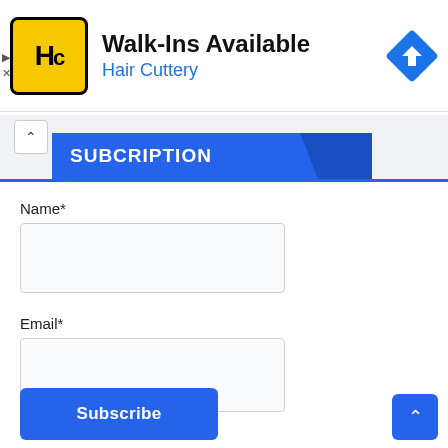[Figure (infographic): Hair Cuttery advertisement banner with logo, 'Walk-Ins Available' headline, blue subtitle 'Hair Cuttery', and a blue navigation/directions icon on the right.]
SUBCRIPTION
Name*
Email*
Subscribe